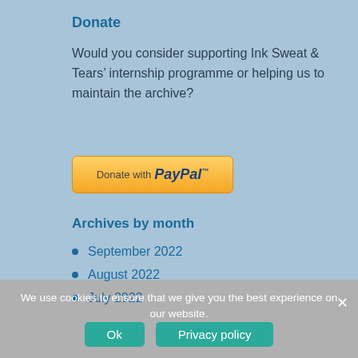Donate
Would you consider supporting Ink Sweat & Tears' internship programme or helping us to maintain the archive?
[Figure (other): Donate with PayPal button — a yellow/orange gradient button with text 'Donate with PayPal' in mixed regular and bold italic blue branding]
Archives by month
September 2022
August 2022
July 2022
We use cookies to ensure that we give you the best experience on our website.
Ok   Privacy policy